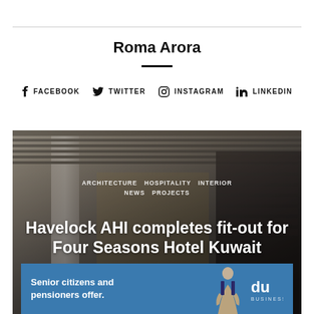Roma Arora
FACEBOOK  TWITTER  INSTAGRAM  LINKEDIN
[Figure (photo): Hotel interior lobby photo showing architectural columns, ceiling details, and a wine rack, overlaid with category tags and article title for Havelock AHI Four Seasons Hotel Kuwait story, with a du telecom advertisement banner at the bottom]
Havelock AHI completes fit-out for Four Seasons Hotel Kuwait